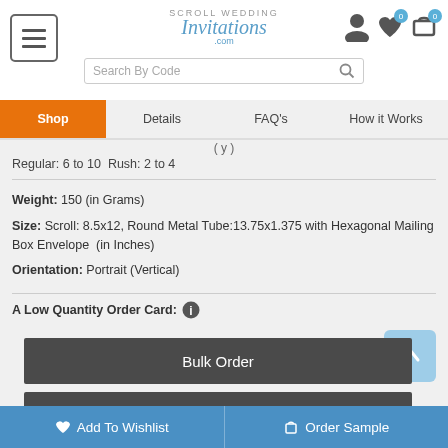Scroll Wedding Invitations .com
Search By Code
Shop | Details | FAQ's | How it Works
Regular: 6 to 10  Rush: 2 to 4
Weight: 150 (in Grams)
Size: Scroll: 8.5x12, Round Metal Tube:13.75x1.375 with Hexagonal Mailing Box Envelope  (in Inches)
Orientation: Portrait (Vertical)
A Low Quantity Order Card:
Bulk Order
Continue Shopping
Add To Wishlist  Order Sample